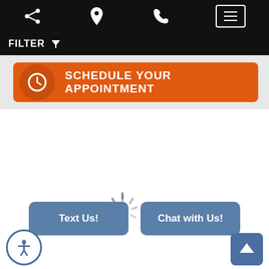[Figure (screenshot): Mobile app navigation bar with share, location, phone, and menu icons on black background]
FILTER
[Figure (screenshot): Orange button with clock icon and text SCHEDULE YOUR APPOINTMENT]
[Figure (screenshot): Loading spinner in center of white area]
Text Us!
Chat with Us!
[Figure (screenshot): Accessibility button (person icon in circle) bottom left]
[Figure (screenshot): Scroll to top button (arrow up) bottom right]